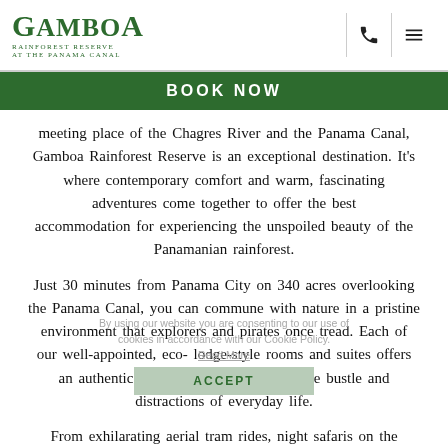GAMBOA RAINFOREST RESERVE AT THE PANAMA CANAL
BOOK NOW
meeting place of the Chagres River and the Panama Canal, Gamboa Rainforest Reserve is an exceptional destination. It's where contemporary comfort and warm, fascinating adventures come together to offer the best accommodation for experiencing the unspoiled beauty of the Panamanian rainforest.
Just 30 minutes from Panama City on 340 acres overlooking the Panama Canal, you can commune with nature in a pristine environment that explorers and pirates once tread. Each of our well-appointed, eco- lodge-style rooms and suites offers an authentic and relaxing escape from the bustle and distractions of everyday life.
From exhilarating aerial tram rides, night safaris on the Chagres River and Panama Canal kayaking adventures to